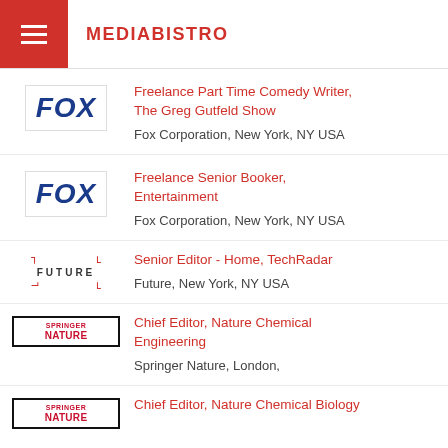MEDIABISTRO
Freelance Part Time Comedy Writer, The Greg Gutfeld Show — Fox Corporation, New York, NY USA
Freelance Senior Booker, Entertainment — Fox Corporation, New York, NY USA
Senior Editor - Home, TechRadar — Future, New York, NY USA
Chief Editor, Nature Chemical Engineering — Springer Nature, London,
Chief Editor, Nature Chemical Biology